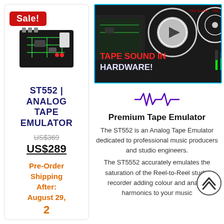[Figure (photo): Product image of ST552 Analog Tape Emulator PCB board with Sale! badge overlay]
ST552 | ANALOG TAPE EMULATOR
US$369 (original price, struck through)
US$289
Pre-Order Shipping After: August 29, 2023
[Figure (screenshot): Video thumbnail showing reel-to-reel tape recorder equipment with text 'TAPE SOUND IN HARDWARE!' and a play button overlay]
[Figure (other): Purple waveform/heartbeat icon]
Premium Tape Emulator
The ST552 is an Analog Tape Emulator dedicated to professional music producers and studio engineers.
The ST5552 accurately emulates the saturation of the Reel-to-Reel studio recorder adding colour and analog harmonics to your music